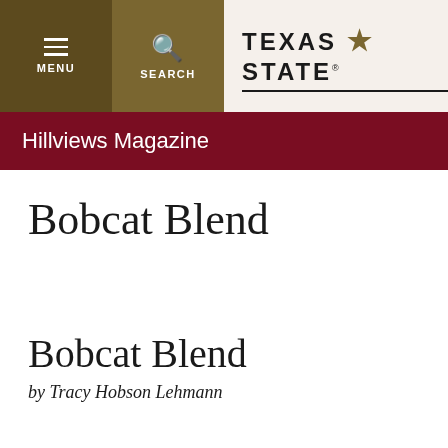MENU | SEARCH | TEXAS STATE
Hillviews Magazine
Bobcat Blend
Bobcat Blend
by Tracy Hobson Lehmann